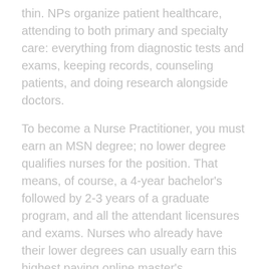thin. NPs organize patient healthcare, attending to both primary and specialty care: everything from diagnostic tests and exams, keeping records, counseling patients, and doing research alongside doctors.
To become a Nurse Practitioner, you must earn an MSN degree; no lower degree qualifies nurses for the position. That means, of course, a 4-year bachelor's followed by 2-3 years of a graduate program, and all the attendant licensures and exams. Nurses who already have their lower degrees can usually earn this highest paying online master's conveniently. But when Bureau of Labor Statistics (BLS) statistics show that an NP can expect a salary of $98,190, and a positive job growth outlook of 31% – much faster than the